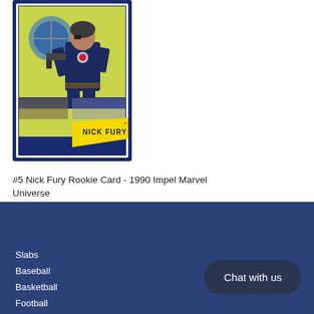[Figure (illustration): Nick Fury trading card from 1990 Impel Marvel Universe. Shows Nick Fury in dark blue uniform holding a gun, with a yellow banner reading 'NICK FURY' at the bottom. Card has a dark blue border.]
#5 Nick Fury Rookie Card - 1990 Impel Marvel Universe
$3.99
Slabs
Baseball
Basketball
Football
Chat with us